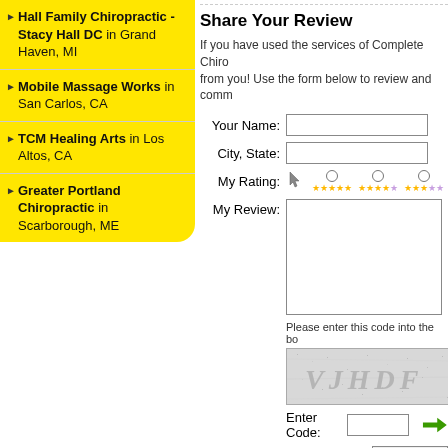Hall Family Chiropractic - Stacy Hall DC in Grand Haven, MI
Mobile Massage Works in San Carlos, CA
TCM Healing Arts in Los Altos, CA
Greater Portland Chiropractic in Scarborough, ME
Share Your Review
If you have used the services of Complete Chiro from you! Use the form below to review and comm
Your Name: [input field]
City, State: [input field]
My Rating: [radio buttons with star ratings]
My Review: [textarea]
Please enter this code into the bo
[Figure (other): CAPTCHA image showing text VJHDF]
Enter Code: [input field] [arrow button]
Post My Rev [button]